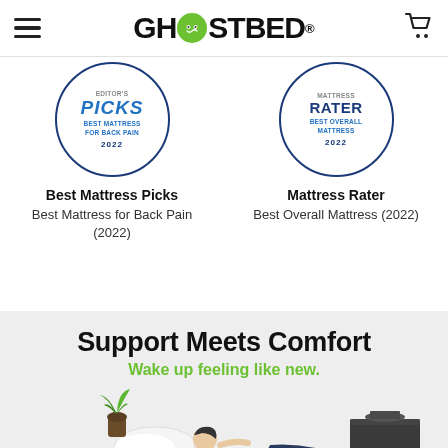GHOSTBED®
[Figure (logo): GhostBed logo with green circle O containing ghost face, hamburger menu icon on left, shopping cart icon on right]
[Figure (illustration): Award badge circle: Best Mattress Picks - Best Mattress for Back Pain 2022]
Best Mattress Picks
Best Mattress for Back Pain (2022)
[Figure (illustration): Award badge circle: Mattress Rater - Best Overall Mattress 2022]
Mattress Rater
Best Overall Mattress (2022)
Support Meets Comfort
Wake up feeling like new.
[Figure (photo): Person sleeping on a mattress with a pillow, a green potted plant on the left and a nightstand on the right, on a light grey background]